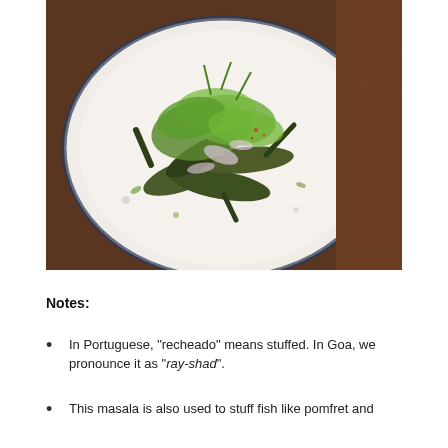[Figure (photo): A white plate with a blue rim on a wooden table, containing cooked okra stuffed with recheado masala, garnished with fresh herbs, sliced shallots, and chili flakes.]
Notes:
In Portuguese, "recheado" means stuffed. In Goa, we pronounce it as "ray-shad".
This masala is also used to stuff fish like pomfret and